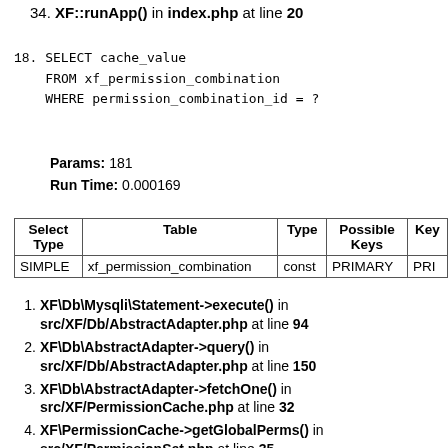34. XF::runApp() in index.php at line 20
SELECT cache_value
    FROM xf_permission_combination
    WHERE permission_combination_id = ?
Params: 181
Run Time: 0.000169
| Select Type | Table | Type | Possible Keys | Key |
| --- | --- | --- | --- | --- |
| SIMPLE | xf_permission_combination | const | PRIMARY | PRI |
1. XF\Db\Mysqli\Statement->execute() in src/XF/Db/AbstractAdapter.php at line 94
2. XF\Db\AbstractAdapter->query() in src/XF/Db/AbstractAdapter.php at line 150
3. XF\Db\AbstractAdapter->fetchOne() in src/XF/PermissionCache.php at line 32
4. XF\PermissionCache->getGlobalPerms() in src/XF/PermissionSet.php at line 35
5. XF\PermissionSet->hasGlobalPermission() in src/XF/Entity/User.php at line 1176
6. XF\Entity\User->hasPermission() in src/XF/Entity/User.php at line 255
7. XF\Entity\User->isLinkTrusted() in